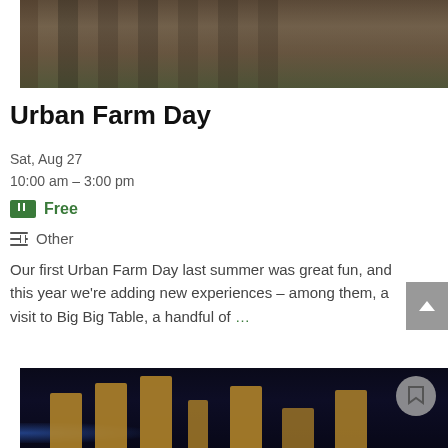[Figure (photo): Group photo of people standing outdoors, showing legs and feet on dirt/grass ground]
Urban Farm Day
Sat, Aug 27
10:00 am – 3:00 pm
Free
Other
Our first Urban Farm Day last summer was great fun, and this year we're adding new experiences – among them, a visit to Big Big Table, a handful of …
[Figure (photo): Night-time photo showing illuminated rectangular panels/bars against a dark background with blue lighting]